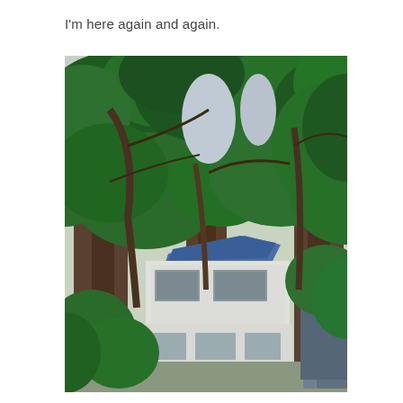I'm here again and again.
[Figure (photo): A photograph showing a two-story white building partially obscured by large tropical trees with dense green foliage. The building has windows and a blue roof element visible through the canopy. Construction or storage materials are visible on the right side.]